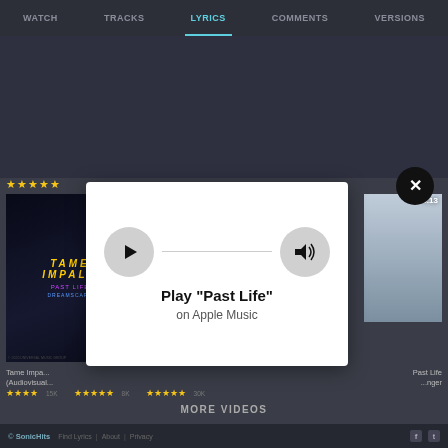WATCH  TRACKS  LYRICS  COMMENTS  VERSIONS
[Figure (screenshot): Music website with modal overlay showing Apple Music play prompt for 'Past Life'. Background shows video thumbnails including 'Tame Impala (Audiovisual)' and 'Past Life'. Modal contains play button, progress bar, volume button, and text 'Play "Past Life" on Apple Music'.]
Play "Past Life"
on Apple Music
MORE VIDEOS
© SonicHits  Find Lyrics  About  Privacy